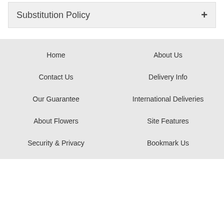Substitution Policy +
Home
About Us
Contact Us
Delivery Info
Our Guarantee
International Deliveries
About Flowers
Site Features
Security & Privacy
Bookmark Us